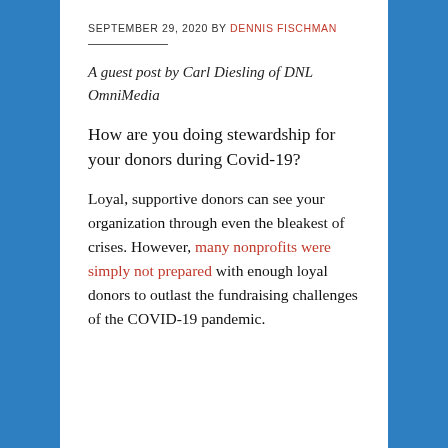SEPTEMBER 29, 2020 BY DENNIS FISCHMAN
A guest post by Carl Diesling of DNL OmniMedia
How are you doing stewardship for your donors during Covid-19?
Loyal, supportive donors can see your organization through even the bleakest of crises. However, many nonprofits were simply not prepared with enough loyal donors to outlast the fundraising challenges of the COVID-19 pandemic.